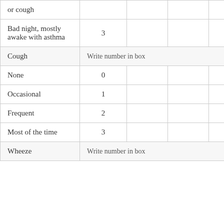| or cough |  |  |  |  |  |  |
| Bad night, mostly awake with asthma | 3 |  |  |  |  |  |
| Cough | Write number in box |  |  |  |  |  |
| None | 0 |  |  |  |  |  |
| Occasional | 1 |  |  |  |  |  |
| Frequent | 2 |  |  |  |  |  |
| Most of the time | 3 |  |  |  |  |  |
| Wheeze | Write number in box |  |  |  |  |  |